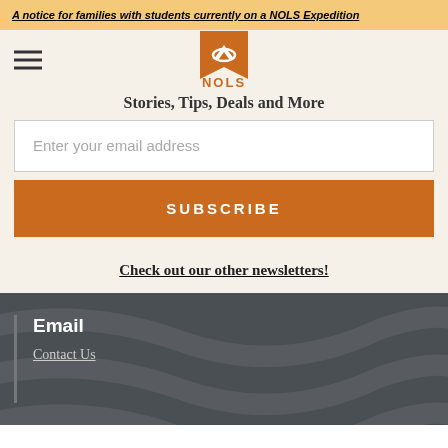A notice for families with students currently on a NOLS Expedition
[Figure (logo): NOLS logo - orange bookmark shape with mountain/sun icon and NOLS text]
Stories, Tips, Deals and More
Enter your email address
SUBSCRIBE
Check out our other newsletters!
Email
Contact Us